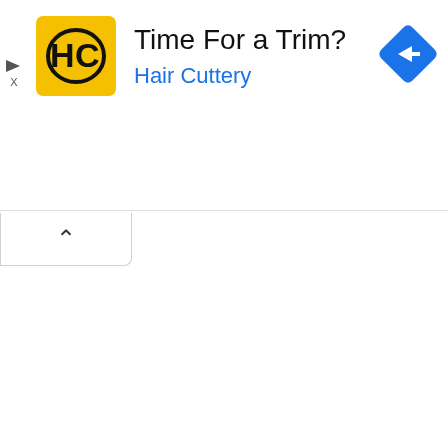[Figure (screenshot): Hair Cuttery advertisement banner with yellow HC logo, text 'Time For a Trim?' and 'Hair Cuttery' in blue, plus a blue navigation diamond icon top-right and ad label icons top-left]
[Figure (screenshot): A collapse/minimize button with an up-arrow caret symbol]
[Figure (screenshot): A search bar with white input field and black Search button on the right]